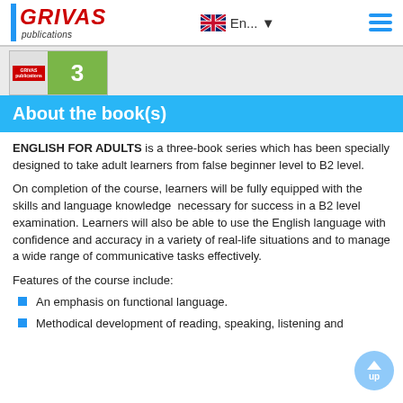GRIVAS publications | En... | menu
[Figure (illustration): Book cover preview showing GRIVAS publications badge on left and number 3 on green right panel]
About the book(s)
ENGLISH FOR ADULTS is a three-book series which has been specially designed to take adult learners from false beginner level to B2 level.
On completion of the course, learners will be fully equipped with the skills and language knowledge necessary for success in a B2 level examination. Learners will also be able to use the English language with confidence and accuracy in a variety of real-life situations and to manage a wide range of communicative tasks effectively.
Features of the course include:
An emphasis on functional language.
Methodical development of reading, speaking, listening and